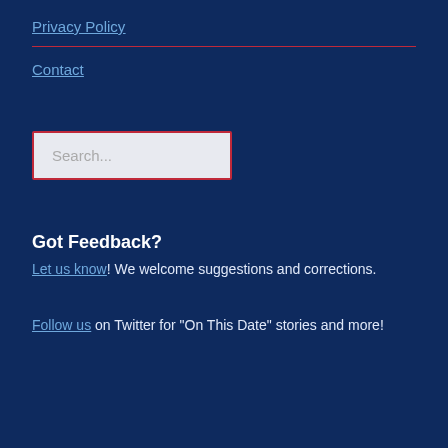Privacy Policy
Contact
Search...
Got Feedback?
Let us know! We welcome suggestions and corrections.
Follow us on Twitter for “On This Date” stories and more!